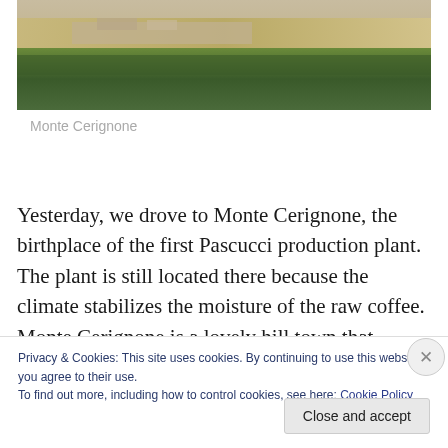[Figure (photo): Aerial or elevated view of Monte Cerignone, showing fields, buildings, and trees on a hillside]
Monte Cerignone
Yesterday, we drove to Monte Cerignone, the birthplace of the first Pascucci production plant. The plant is still located there because the climate stabilizes the moisture of the raw coffee. Monte Cerignone is a lovely hill town that
Privacy & Cookies: This site uses cookies. By continuing to use this website, you agree to their use.
To find out more, including how to control cookies, see here: Cookie Policy